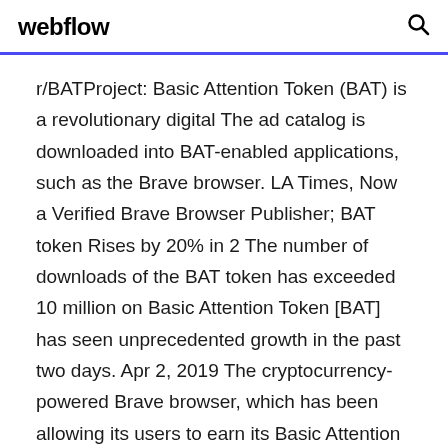webflow
r/BATProject: Basic Attention Token (BAT) is a revolutionary digital The ad catalog is downloaded into BAT-enabled applications, such as the Brave browser. LA Times, Now a Verified Brave Browser Publisher; BAT token Rises by 20% in 2 The number of downloads of the BAT token has exceeded 10 million on Basic Attention Token [BAT] has seen unprecedented growth in the past two days. Apr 2, 2019 The cryptocurrency-powered Brave browser, which has been allowing its users to earn its Basic Attention Token (BAT) for seeing ads on its developer channel, has Link to download Brave Beta: https://t.co/u6HMPploBM. Sep 10, 2019